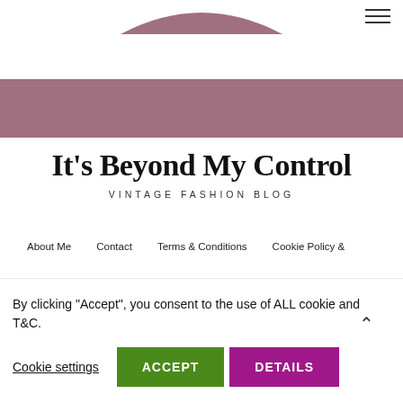[Figure (illustration): Mauve/dusty-rose curved decorative shape at top center of page, like a wide flat arch or hat brim]
[Figure (illustration): Full-width horizontal mauve/dusty-rose band across the page]
It's Beyond My Control
VINTAGE FASHION BLOG
About Me   Contact   Terms & Conditions   Cookie Policy &
By clicking “Accept”, you consent to the use of ALL cookie and T&C.
Cookie settings
ACCEPT
DETAILS